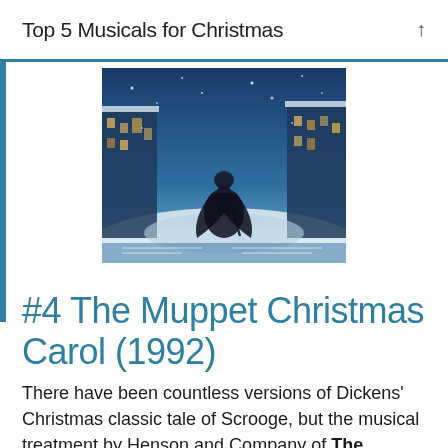Top 5 Musicals for Christmas
[Figure (photo): Movie poster or still from The Muppet Christmas Carol (1992) showing a figure walking through a snowy street scene]
#4 The Muppet Christmas Carol (1992)
There have been countless versions of Dickens' Christmas classic tale of Scrooge, but the musical treatment by Henson and Company of The Muppet Christmas Carol is